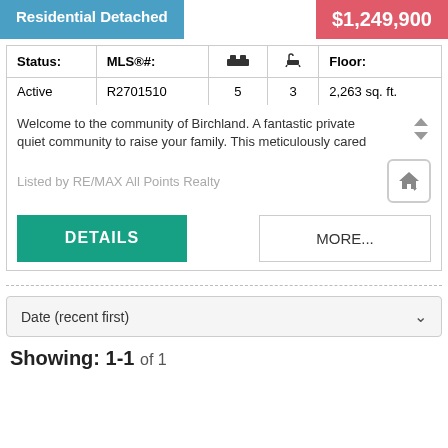Residential Detached
$1,249,900
| Status: | MLS®#: | ■■ (beds) | ▲ (baths) | Floor: |
| --- | --- | --- | --- | --- |
| Active | R2701510 | 5 | 3 | 2,263 sq. ft. |
Welcome to the community of Birchland. A fantastic private & quiet community to raise your family. This meticulously cared
Listed by RE/MAX All Points Realty
DETAILS
MORE...
Date (recent first)
Showing: 1-1 of 1